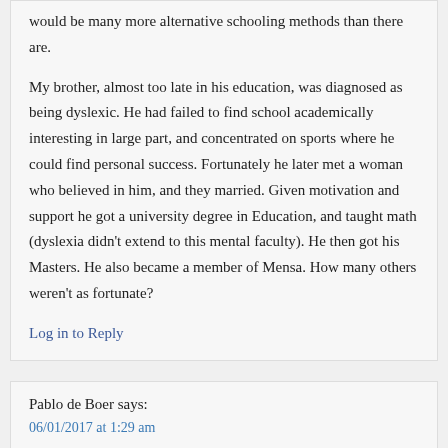would be many more alternative schooling methods than there are.
My brother, almost too late in his education, was diagnosed as being dyslexic. He had failed to find school academically interesting in large part, and concentrated on sports where he could find personal success. Fortunately he later met a woman who believed in him, and they married. Given motivation and support he got a university degree in Education, and taught math (dyslexia didn't extend to this mental faculty). He then got his Masters. He also became a member of Mensa. How many others weren't as fortunate?
Log in to Reply
Pablo de Boer says:
06/01/2017 at 1:29 am
Hola aloha herrqlys,